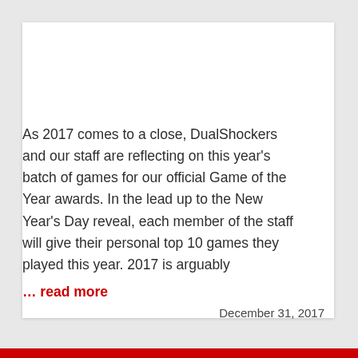As 2017 comes to a close, DualShockers and our staff are reflecting on this year's batch of games for our official Game of the Year awards. In the lead up to the New Year's Day reveal, each member of the staff will give their personal top 10 games they played this year. 2017 is arguably … read more
December 31, 2017